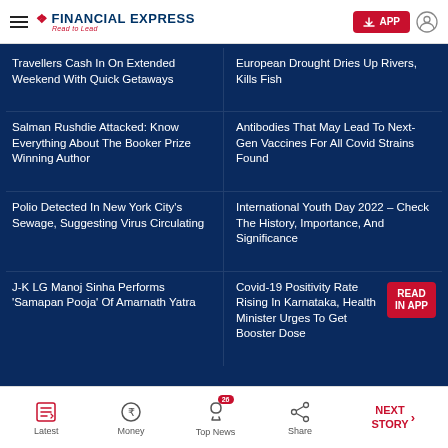Financial Express — Read to Lead
Travellers Cash In On Extended Weekend With Quick Getaways
European Drought Dries Up Rivers, Kills Fish
Salman Rushdie Attacked: Know Everything About The Booker Prize Winning Author
Antibodies That May Lead To Next-Gen Vaccines For All Covid Strains Found
Polio Detected In New York City's Sewage, Suggesting Virus Circulating
International Youth Day 2022 – Check The History, Importance, And Significance
J-K LG Manoj Sinha Performs 'Samapan Pooja' Of Amarnath Yatra
Covid-19 Positivity Rate Rising In Karnataka, Health Minister Urges To Get Booster Dose
Latest | Money | Top News (26) | Share | NEXT STORY